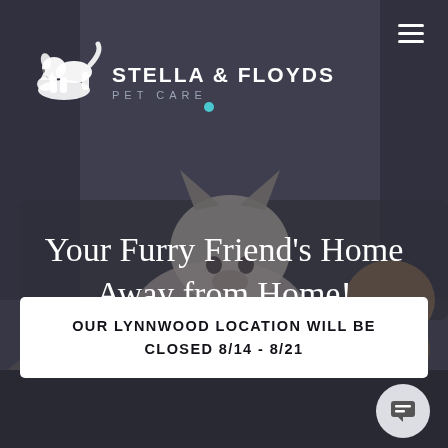[Figure (photo): Background photo of dogs (white French Bulldog and brown pug) resting on a couch in a dimly lit room, with a dark overlay]
[Figure (logo): Stella & Floyds Pet Care logo: white dog silhouette icon on left, white text 'STELLA & FLOYDS' in bold caps, gray 'PET CARE' subtitle in letter-spaced caps, teal dot accent]
Your Furry Friend's Home Away from Home!
OUR LYNNWOOD LOCATION WILL BE CLOSED 8/14 - 8/21